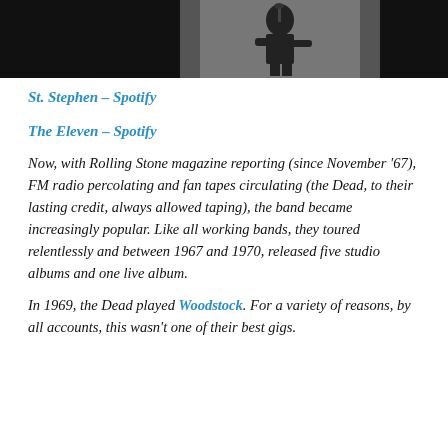[Figure (photo): Black and white photo strip showing a musician performing on stage, partially visible against a dark background.]
St. Stephen – Spotify
The Eleven – Spotify
Now, with Rolling Stone magazine reporting (since November '67), FM radio percolating and fan tapes circulating (the Dead, to their lasting credit, always allowed taping), the band became increasingly popular. Like all working bands, they toured relentlessly and between 1967 and 1970, released five studio albums and one live album.
In 1969, the Dead played Woodstock. For a variety of reasons, by all accounts, this wasn't one of their best gigs.